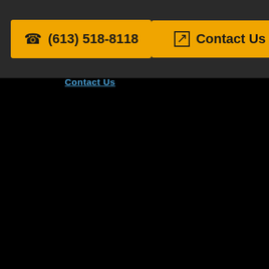[Figure (screenshot): Website navigation bar with dark background containing two amber/orange buttons: a phone button showing '(613) 518-8118' with a phone icon, and a 'Contact Us' button with an icon. Below the nav bar is a 'Contact Us' hyperlink in blue, and the rest of the page is black.]
(613) 518-8118
Contact Us
Contact Us